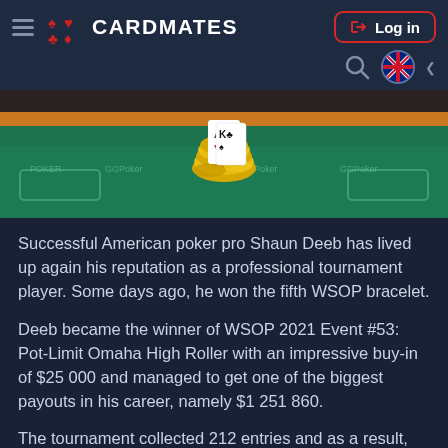CARDMATES — Log in
[Figure (photo): Poker table with GGPoker branding, cards and chips piled in the center on green felt]
Successful American poker pro Shaun Deeb has lived up again his reputation as a professional tournament player. Some days ago, he won the fifth WSOP bracelet.
Deeb became the winner of WSOP 2021 Event #53: Pot-Limit Omaha High Roller with an impressive buy-in of $25 000 and managed to get one of the biggest payouts in his career, namely $1 251 860.
The tournament collected 212 entries and as a result, the prize pool reached the mark of $5 000 500...